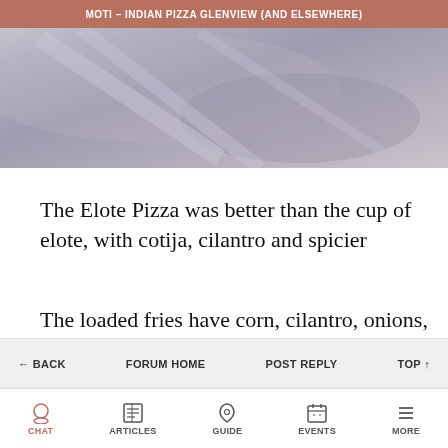MOTI – INDIAN PIZZA GLENVIEW (AND ELSEWHERE)
[Figure (photo): Close-up photo of food or textured surface with muted blue-gray and tan tones]
The Elote Pizza was better than the cup of elote, with cotija, cilantro and spicier
The loaded fries have corn, cilantro, onions, moti and cilantro lime sauces (could be a little crisper). It's a bit of a salt bomb but really tasty. Extra to add protein.
← BACK   FORUM HOME   POST REPLY   TOP ↑
CHAT   ARTICLES   GUIDE   EVENTS   MORE